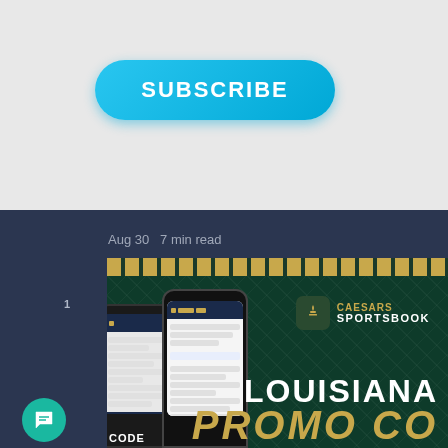[Figure (infographic): Cyan/blue rounded pill-shaped SUBSCRIBE button on light gray background]
Aug 30 7 min read
[Figure (infographic): Caesars Sportsbook Louisiana Promo Code banner with phone mockups on dark green background with Greek key border]